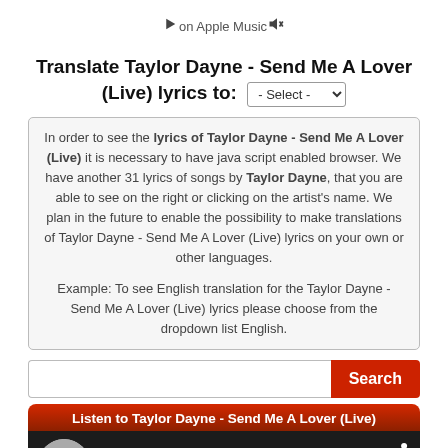Translate Taylor Dayne - Send Me A Lover (Live) lyrics to:
In order to see the lyrics of Taylor Dayne - Send Me A Lover (Live) it is necessary to have java script enabled browser. We have another 31 lyrics of songs by Taylor Dayne, that you are able to see on the right or clicking on the artist's name. We plan in the future to enable the possibility to make translations of Taylor Dayne - Send Me A Lover (Live) lyrics on your own or other languages.

Example: To see English translation for the Taylor Dayne - Send Me A Lover (Live) lyrics please choose from the dropdown list English.
Listen to Taylor Dayne - Send Me A Lover (Live)
Taylor Dayne - Send Me A Lover